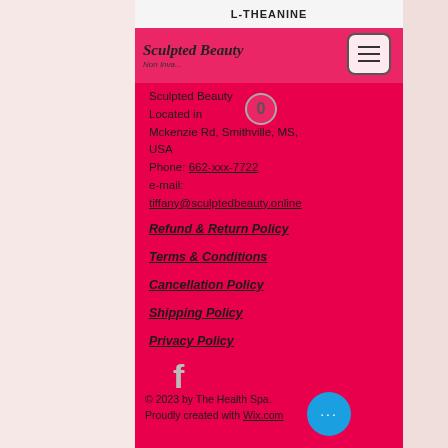L-THEANINE
[Figure (logo): Sculpted Beauty Non Invasive logo with cursive script text and silhouette figure]
Sculpted Beauty
Located in
Mckenzie Rd, Smithville, MS, USA
Phone: 662-xxx-7722
e-mail:
tiffany@sculptedbeauty.online
Refund & Return Policy
Terms & Conditions
Cancellation Policy
Shipping Policy
Privacy Policy
[Figure (logo): Facebook icon/logo in grey]
© 2023 by The Health Spa. Proudly created with Wix.com
Contact Us